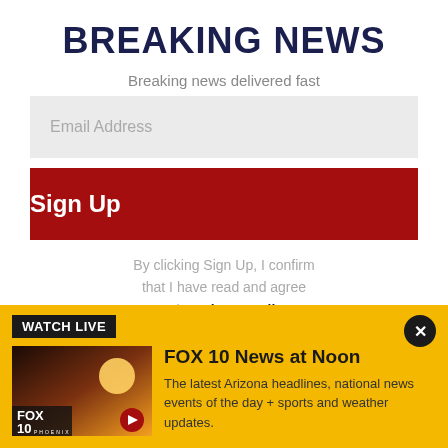BREAKING NEWS
Breaking news delivered fast
Email Address
Sign Up
By clicking Sign Up, I confirm that I have read and agree to the Privacy Policy and Terms of Service.
WATCH LIVE
[Figure (screenshot): FOX 10 Phoenix news thumbnail with desert sunset background and play button]
FOX 10 News at Noon
The latest Arizona headlines, national news events of the day + sports and weather updates.